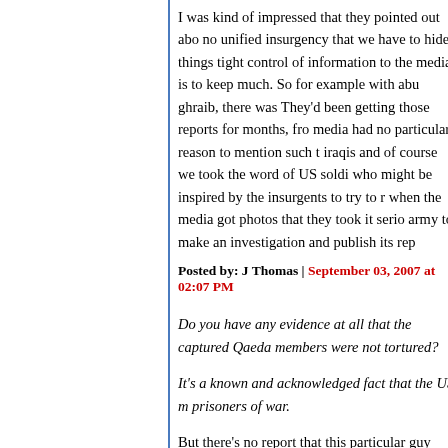I was kind of impressed that they pointed out abo no unified insurgency that we have to hide things tight control of information to the media is to keep much. So for example with abu ghraib, there was They'd been getting those reports for months, fro media had no particular reason to mention such t iraqis and of course we took the word of US soldi who might be inspired by the insurgents to try to r when the media got photos that they took it serio army to make an investigation and publish its rep
Posted by: J Thomas | September 03, 2007 at 02:07 PM
Do you have any evidence at all that the captured Qaeda members were not tortured?
It's a known and acknowledged fact that the US m prisoners of war.
But there's no report that this particular guy was e interrogated by iraqis, and the iraqi government m so far for me the only evidence that he ever existe
Do you believe the iraqi government would let him